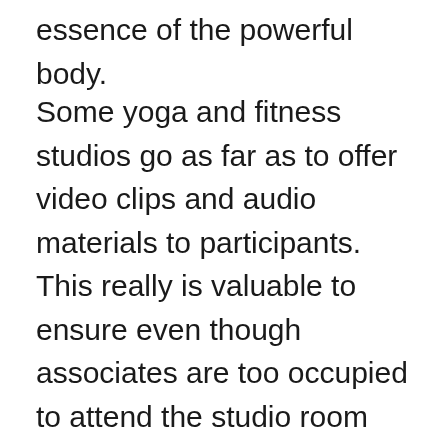essence of the powerful body.
Some yoga and fitness studios go as far as to offer video clips and audio materials to participants. This really is valuable to ensure even though associates are too occupied to attend the studio room they can do their workout routines both at home and the better persistent individuals can review when preparing for lessons. If all the stuff described may be found in a yoga and fitness studio then go to the next level of inquiry which is registering after which consistently attend periods to feel the amazing negative effects of